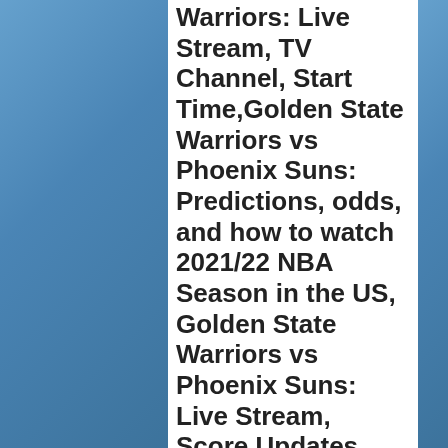Warriors: Live Stream, TV Channel, Start Time,  Golden State Warriors vs Phoenix Suns: Predictions, odds, and how to watch 2021/22 NBA Season in the US,  Golden State Warriors vs Phoenix Suns: Live Stream, Score Updates and How to Watch in NBA Game....
in NBA
NBA Lovers Welcome To Watch Golden State Warriors vs Phoenix Suns 2021 Live Stream NBA